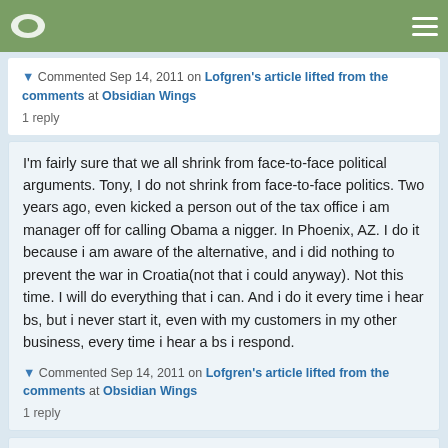▼ Commented Sep 14, 2011 on Lofgren's article lifted from the comments at Obsidian Wings
1 reply
I'm fairly sure that we all shrink from face-to-face political arguments. Tony, I do not shrink from face-to-face politics. Two years ago, even kicked a person out of the tax office i am manager off for calling Obama a nigger. In Phoenix, AZ. I do it because i am aware of the alternative, and i did nothing to prevent the war in Croatia(not that i could anyway). Not this time. I will do everything that i can. And i do it every time i hear bs, but i never start it, even with my customers in my other business, every time i hear a bs i respond.
▼ Commented Sep 14, 2011 on Lofgren's article lifted from the comments at Obsidian Wings
1 reply
it is interesting to see the President go back to pass.the.bill.now, "Interesting" in your sentence i read as something negative, derogatory. Are you saying that he should not campaign for election (because that's all he is